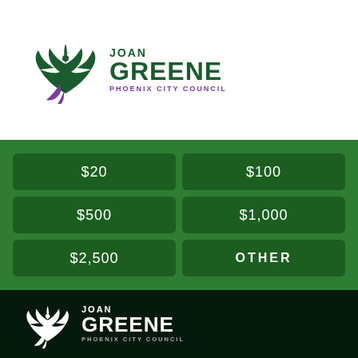[Figure (logo): Joan Greene Phoenix City Council logo with green phoenix bird and text on white background]
[Figure (infographic): Donation amount selection buttons on green background: $20, $100, $500, $1,000, $2,500, OTHER]
[Figure (logo): Joan Greene Phoenix City Council logo in white on dark green/black background]